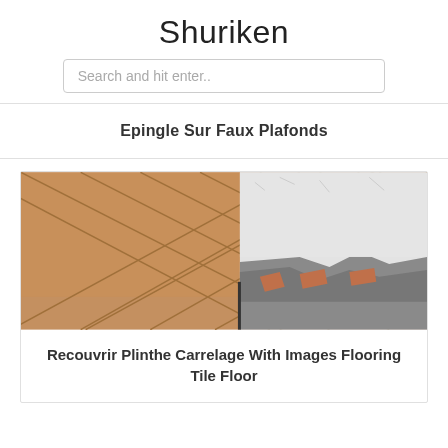Shuriken
Search and hit enter..
Epingle Sur Faux Plafonds
[Figure (photo): Photo of terracotta floor tiles meeting a peeling plaster wall base, showing damaged plinthes/baseboard area with exposed concrete and tile edges.]
Recouvrir Plinthe Carrelage With Images Flooring Tile Floor